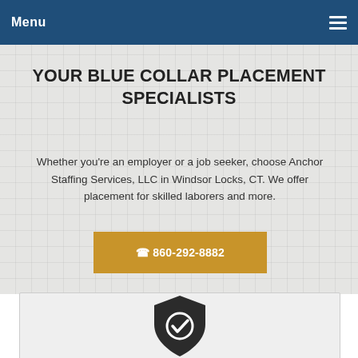Menu
YOUR BLUE COLLAR PLACEMENT SPECIALISTS
Whether you're an employer or a job seeker, choose Anchor Staffing Services, LLC in Windsor Locks, CT. We offer placement for skilled laborers and more.
☎ 860-292-8882
[Figure (illustration): Shield with checkmark icon, dark gray color, representing trust or quality assurance]